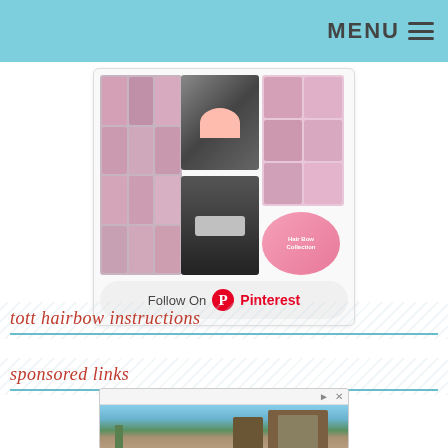MENU
[Figure (photo): Pinterest widget showing a grid of hair bow images with a 'Follow On Pinterest' button]
tott hairbow instructions
sponsored links
[Figure (photo): Advertisement for a 55+ apartment community building showing 'Enjoy Comfort, Convenience & Connection' and 'NEW 55+ Apartment Community for Active Adults']